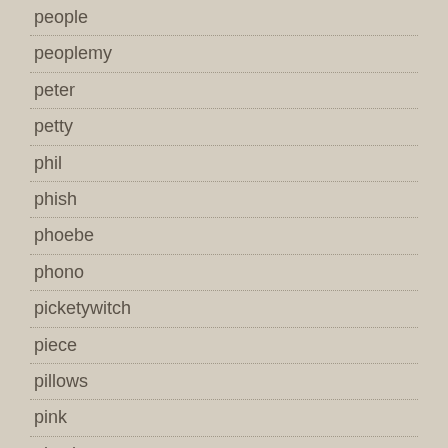people
peoplemy
peter
petty
phil
phish
phoebe
phono
picketywitch
piece
pillows
pink
pistols
placebo
plan
plastic